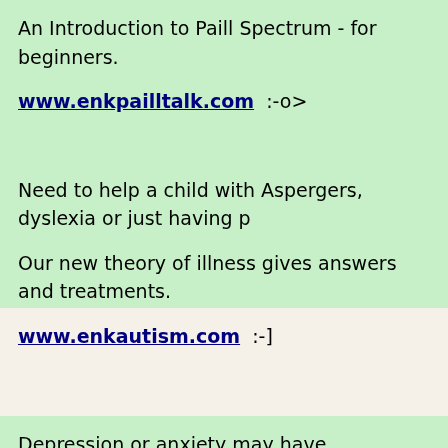An Introduction to Paill Spectrum - for beginners.
www.enkpailltalk.com  :-o>
Need to help a child with Aspergers, dyslexia or just having pr…
Our new theory of illness gives answers and treatments.
www.enkautism.com  :-]
Depression or anxiety may have treatments instead of antidep…
If you want a cure that is.